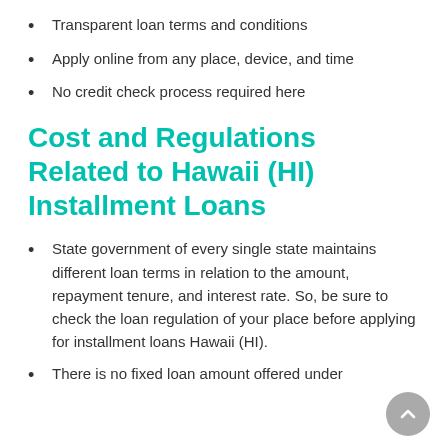Transparent loan terms and conditions
Apply online from any place, device, and time
No credit check process required here
Cost and Regulations Related to Hawaii (HI) Installment Loans
State government of every single state maintains different loan terms in relation to the amount, repayment tenure, and interest rate. So, be sure to check the loan regulation of your place before applying for installment loans Hawaii (HI).
There is no fixed loan amount offered under